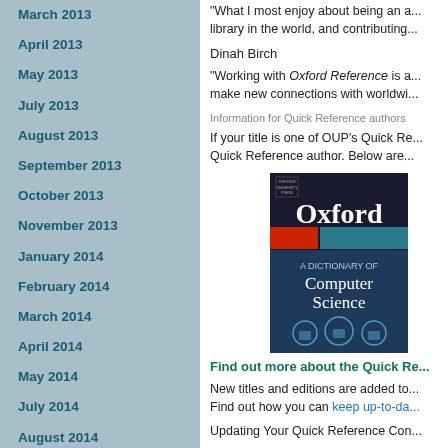March 2013
April 2013
May 2013
July 2013
August 2013
September 2013
October 2013
November 2013
January 2014
February 2014
March 2014
April 2014
May 2014
July 2014
August 2014
September 2014
October 2014
November 2014
January 2015
February 2015
"What I most enjoy about being an a... library in the world, and contributing...
Dinah Birch
"Working with Oxford Reference is a... make new connections with worldwi...
Information for Quick Reference authors
If your title is one of OUP's Quick Re... Quick Reference author. Below are...
[Figure (photo): Book cover of Oxford A Dictionary of Computer Science]
Find out more about the Quick Re...
New titles and editions are added to... Find out how you can keep up-to-da...
Updating Your Quick Reference Con...